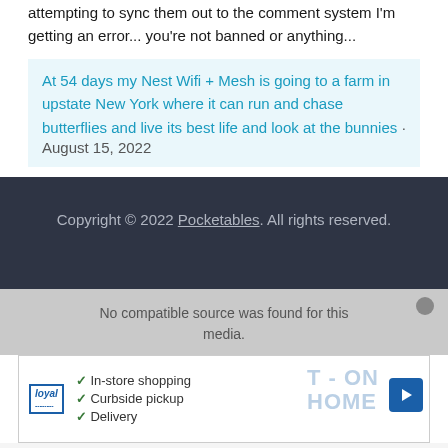attempting to sync them out to the comment system I'm getting an error... you're not banned or anything...
At 54 days my Nest Wifi + Mesh is going to a farm in upstate New York where it can run and chase butterflies and live its best life and look at the bunnies · August 15, 2022
Copyright © 2022 Pocketables. All rights reserved.
No compatible source was found for this media.
[Figure (screenshot): Advertisement banner showing Loyal brand logo with checkmarks for In-store shopping, Curbside pickup, Delivery, and a navigation arrow icon]
In-store shopping
Curbside pickup
Delivery